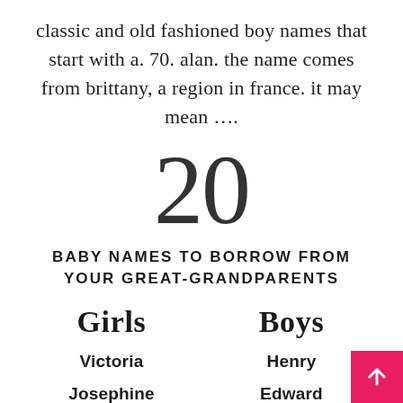classic and old fashioned boy names that start with a. 70. alan. the name comes from brittany, a region in france. it may mean ....
20
BABY NAMES TO BORROW FROM YOUR GREAT-GRANDPARENTS
Girls
Boys
Victoria
Henry
Josephine
Edward
Vivian
Jasper
Alice
Theodore